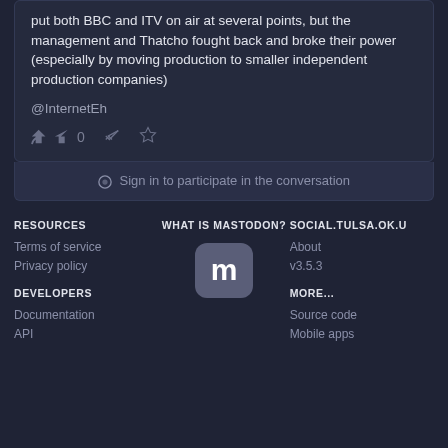put both BBC and ITV on air at several points, but the management and Thatcho fought back and broke their power (especially by moving production to smaller independent production companies)
@InternetEh
0
Sign in to participate in the conversation
RESOURCES
Terms of service
Privacy policy
DEVELOPERS
Documentation
API
WHAT IS MASTODON?
[Figure (logo): Mastodon logo - white M on rounded square grey background]
SOCIAL.TULSA.OK.U
About
v3.5.3
MORE...
Source code
Mobile apps